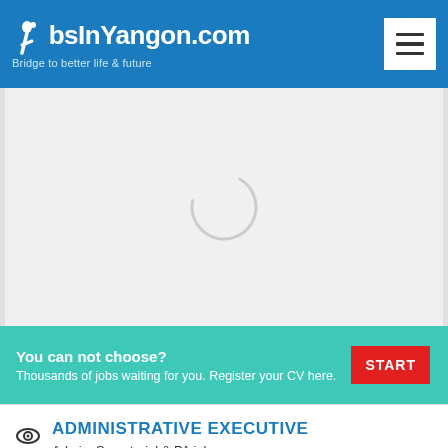JobsInYangon.com — Bridge to better life & future
[Figure (screenshot): Loading spinner (partial circle arc) on a light grey background content area]
You can not choose? Thousands of jobs waiting for you. Register your CV here. START
ADMINISTRATIVE EXECUTIVE
Admin, Secretarial & PA jobs
Win Thein & Sons Co Ltd.
Yangon (Rangoon)